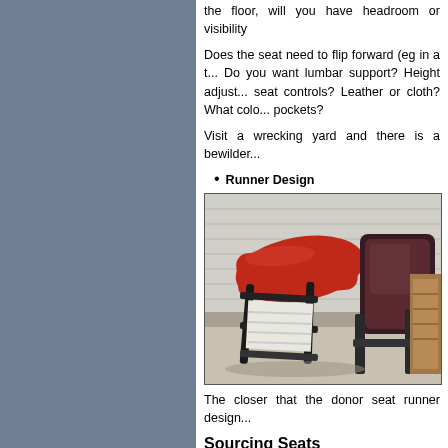the floor, will you have headroom or visibility
Does the seat need to flip forward (eg in a t... Do you want lumbar support? Height adjust... seat controls? Leather or cloth? What colo... pockets?
Visit a wrecking yard and there is a bewilder...
Runner Design
[Figure (photo): Photo of car seats at a wrecking yard, showing a red vinyl seat tipped on its side with metal runner frames visible, and a dark seat behind it, on a concrete floor in front of a metal garage door.]
The closer that the donor seat runner design...
Sourcing Seats